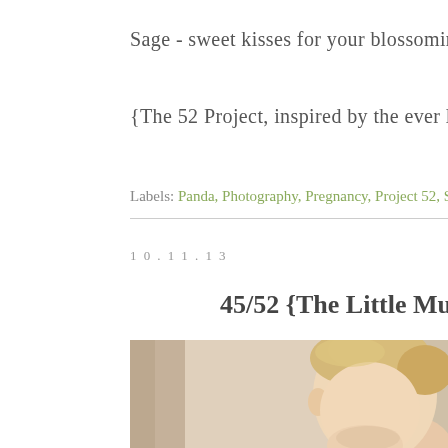Sage - sweet kisses for your blossoming, little broth
{The 52 Project, inspired by the ever lovely Jodi}
Labels: Panda, Photography, Pregnancy, Project 52, Sage
10.11.13
45/52 {The Little Mu
[Figure (photo): Close-up photo of a young blonde child (baby/toddler) with soft warm tones, curtain visible on left side]